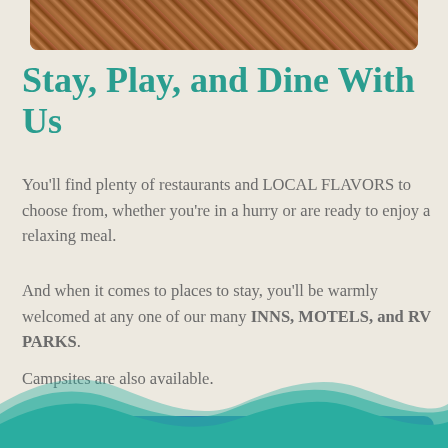[Figure (photo): Close-up photo of grilled/roasted meat food at top of page]
Stay, Play, and Dine With Us
You'll find plenty of restaurants and LOCAL FLAVORS to choose from, whether you're in a hurry or are ready to enjoy a relaxing meal.
And when it comes to places to stay, you'll be warmly welcomed at any one of our many INNS, MOTELS, and RV PARKS.
Campsites are also available.
[Figure (illustration): Teal wave decoration at bottom of page]
Lodging, RV, and Camping
Restaurants